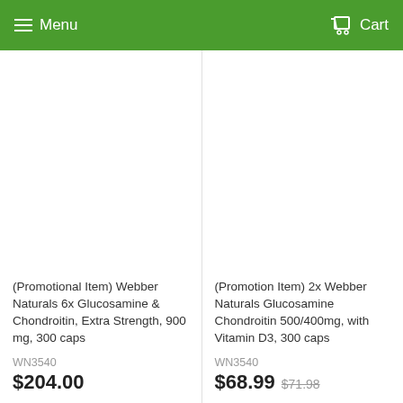Menu  Cart
[Figure (photo): Product image area for Webber Naturals 6x Glucosamine & Chondroitin, Extra Strength, 900 mg, 300 caps (blank/white area)]
(Promotional Item) Webber Naturals 6x Glucosamine & Chondroitin, Extra Strength, 900 mg, 300 caps
WN3540
$204.00
[Figure (photo): Product image area for 2x Webber Naturals Glucosamine Chondroitin 500/400mg, with Vitamin D3, 300 caps (blank/white area)]
(Promotion Item) 2x Webber Naturals Glucosamine Chondroitin 500/400mg, with Vitamin D3, 300 caps
WN3540
$68.99  $71.98